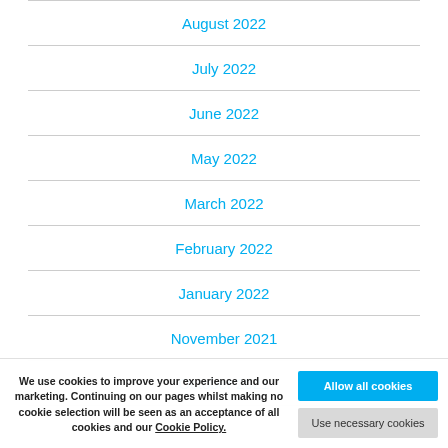August 2022
July 2022
June 2022
May 2022
March 2022
February 2022
January 2022
November 2021
October 2021
We use cookies to improve your experience and our marketing. Continuing on our pages whilst making no cookie selection will be seen as an acceptance of all cookies and our Cookie Policy.
Allow all cookies
Use necessary cookies